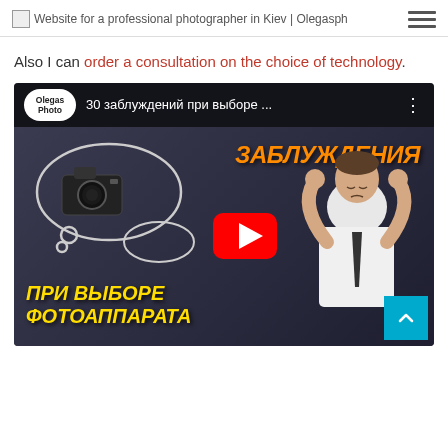Website for a professional photographer in Kiev | Olegasph
Also I can order a consultation on the choice of technology.
[Figure (screenshot): YouTube video thumbnail embedded in a webpage. The video is titled '30 заблуждений при выборе ...' by channel 'Olegas Photo'. The thumbnail shows a man holding his head with Russian text: ЗАБЛУЖДЕНИЯ (orange, top right) and ПРИ ВЫБОРЕ ФОТОАППАРАТА (yellow, bottom left), with a camera in a thought bubble on the left. A red YouTube play button is in the center. A cyan scroll-to-top button is at the bottom right.]